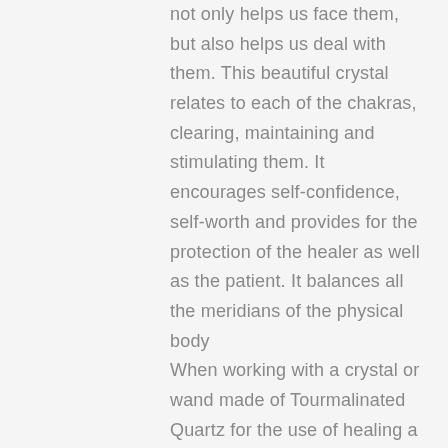not only helps us face them, but also helps us deal with them. This beautiful crystal relates to each of the chakras, clearing, maintaining and stimulating them. It encourages self-confidence, self-worth and provides for the protection of the healer as well as the patient. It balances all the meridians of the physical body When working with a crystal or wand made of Tourmalinated Quartz for the use of healing a specific area, like a frozen shoulder for example, I find the healing energies are amplified as they are channelled through the crystal or wand and into the body. Work about six inches or 15cms away from the body holding your other hand on the other side of the shoulder. Now stroke the crystal or wand through the aura around the shoulder in movements toward the heart. Use straight line